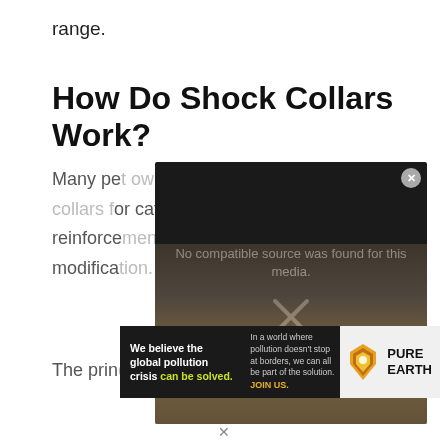range.
How Do Shock Collars Work?
Many pet owners use electrical shock collars for cats specifically, as negative reinforcement tools for behavior modification.
[Figure (screenshot): Video player overlay showing 'No compatible source was found for this media.' with an X close button and a cat image in background]
[Figure (infographic): Pure Earth advertisement banner: 'We believe the global pollution crisis can be solved. In a world where pollution doesn't stop at borders, we can all be part of the solution. JOIN US.' with Pure Earth logo]
The principal theory behind the device is that